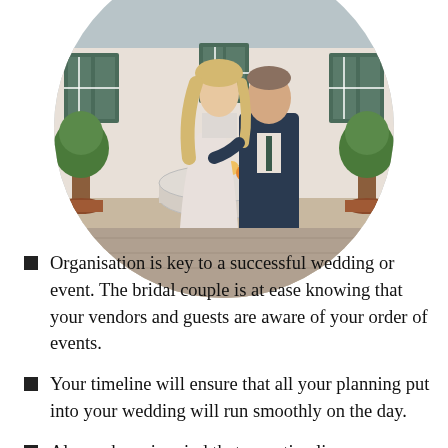[Figure (photo): A bride and groom posing together outdoors in front of a white building with green-trimmed windows and potted trees. The image is cropped in a circle shape.]
Organisation is key to a successful wedding or event. The bridal couple is at ease knowing that your vendors and guests are aware of your order of events.
Your timeline will ensure that all your planning put into your wedding will run smoothly on the day.
Always keep in mind that your timeline